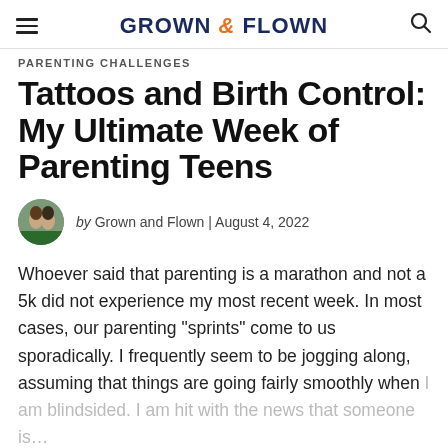GROWN & FLOWN
PARENTING CHALLENGES
Tattoos and Birth Control: My Ultimate Week of Parenting Teens
by Grown and Flown | August 4, 2022
Whoever said that parenting is a marathon and not a 5k did not experience my most recent week. In most cases, our parenting “sprints” come to us sporadically. I frequently seem to be jogging along, assuming that things are going fairly smoothly when I am blindsided. I am hit with the news that someone is…